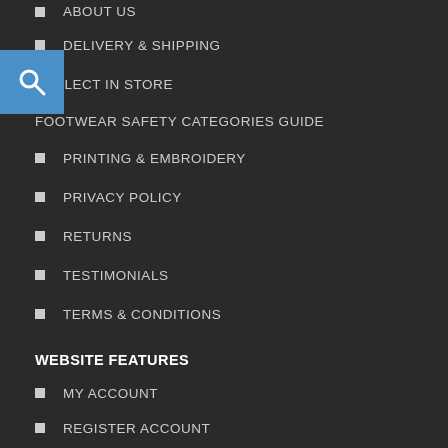DELIVERY & SHIPPING
COLLECT IN STORE
FOOTWEAR SAFETY CATEGORIES GUIDE
PRINTING & EMBROIDERY
PRIVACY POLICY
RETURNS
TESTIMONIALS
TERMS & CONDITIONS
WEBSITE FEATURES
MY ACCOUNT
REGISTER ACCOUNT
CONTACT US